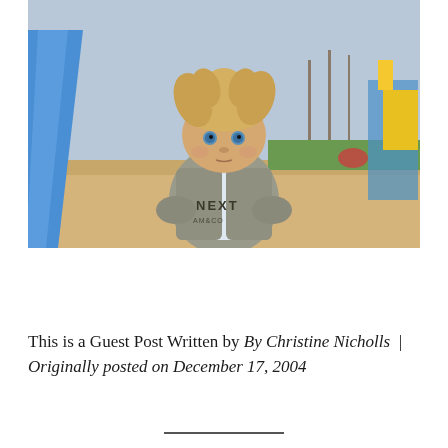[Figure (photo): A young toddler with wild blond hair and blue eyes, wearing a grey 'NEXT' branded vest hoodie over a white long-sleeve shirt, standing in front of a blue playground slide on a sandy playground. Background shows bare trees, green grass, and colorful playground equipment.]
This is a Guest Post Written by By Christine Nicholls  |  Originally posted on December 17, 2004